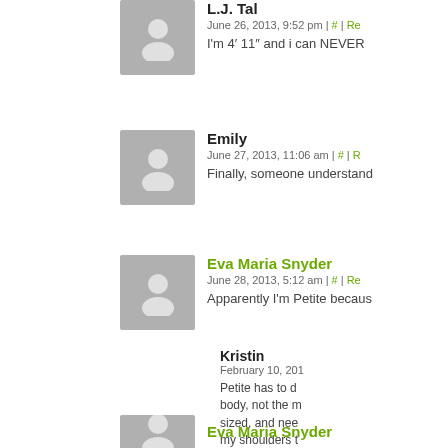L.J. Tal
June 26, 2013, 9:52 pm | # | Re...
I'm 4' 11" and i can NEVER...
Emily
June 27, 2013, 11:06 am | # | R...
Finally, someone understand...
Eva Maria Snyder
June 28, 2013, 5:12 am | # | Re...
Apparently I'm Petite becaus...
Kristin
February 10, 201...
Petite has to d... body, not the m... sized, and nee... my shoulders t... girls to my hips... large rack, is w... midriff with a p...
Eva Maria Snyder